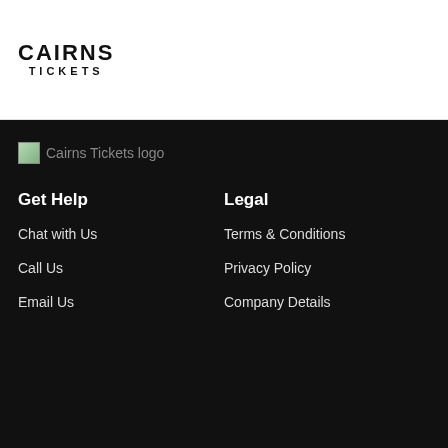CAIRNS TICKETS
[Figure (logo): Cairns Tickets logo image (broken image icon with alt text 'Cairns Tickets logo')]
Get Help
Chat with Us
Call Us
Email Us
Legal
Terms & Conditions
Privacy Policy
Company Details